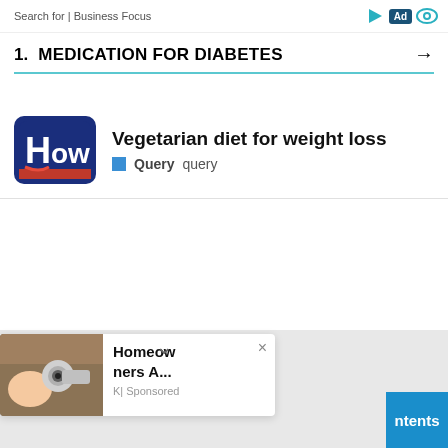Search for | Business Focus
1. MEDICATION FOR DIABETES →
[Figure (logo): HOW logo — dark blue rounded rectangle with white H, red underline, white 'ow' text]
Vegetarian diet for weight loss
Query  query
[Figure (photo): Security camera photo thumbnail]
Homeowners A...
K| Sponsored
ntents